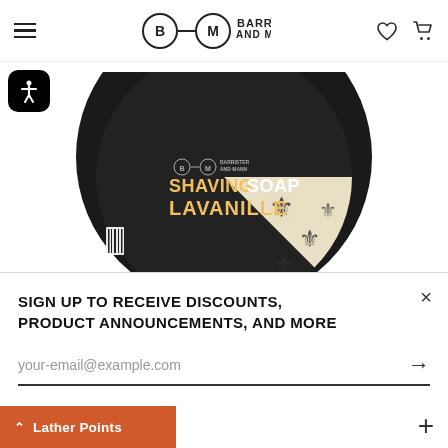Barrister and Mann — navigation header with hamburger menu, logo, wishlist and cart icons
[Figure (photo): Barrister and Mann Shaving Soap Lavanille product tin, round black container with gold text and fleur-de-lis decorative pattern, viewed from above at slight angle]
SIGN UP TO RECEIVE DISCOUNTS, PRODUCT ANNOUNCEMENTS, AND MORE
your-email@example.com
Lather Points